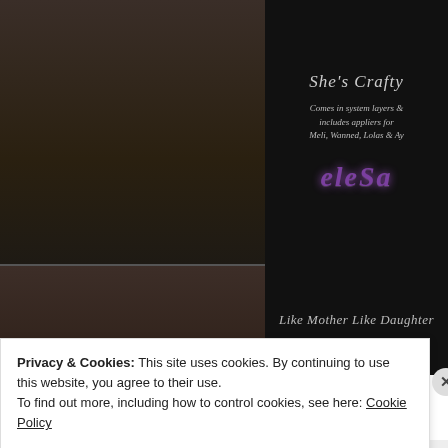[Figure (photo): Product advertisement image showing avatar body tattoo designs on dark background. Top half shows leg tattoos front and back labeled She's Crafty with elara logo. Bottom half shows additional designs labeled Like Mother Like Daughter.]
She's Crafty
Comes in system layers & includes appliers for Meli, Wanned, Lolas & Ay
eleSa
Like Mother Like Daughter
Privacy & Cookies: This site uses cookies. By continuing to use this website, you agree to their use.
To find out more, including how to control cookies, see here: Cookie Policy
Close and accept